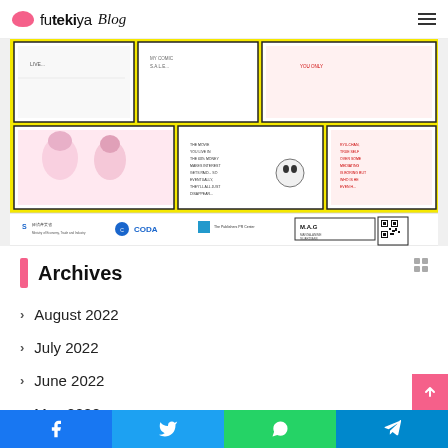futekiya Blog
[Figure (illustration): Manga comic page collage with yellow background showing various black and white and red-tinted manga panels. Bottom strip shows sponsor logos: Ministry of Economy Trade and Industry Japan, CODA, The Publishers PR Center, M.A.G Manga-Anime Guardians, and a QR code.]
Archives
August 2022
July 2022
June 2022
May 2022
April 2022
Facebook Twitter WhatsApp Telegram